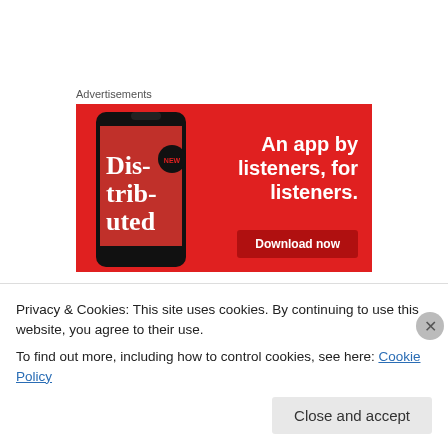Advertisements
[Figure (screenshot): Red advertisement banner for a podcast app. Shows a smartphone displaying 'Distributed' content. Text reads: 'An app by listeners, for listeners.' with a 'Download now' button.]
paysafecard online casino on March 19, 2014 at 12:43 pm
Privacy & Cookies: This site uses cookies. By continuing to use this website, you agree to their use.
To find out more, including how to control cookies, see here: Cookie Policy